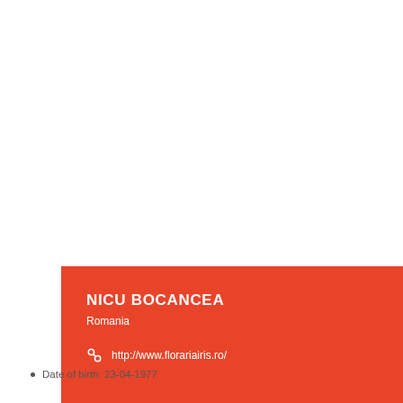NICU BOCANCEA
Romania
http://www.florariairis.ro/
BIOGRAPHY
Date of birth: 23-04-1977